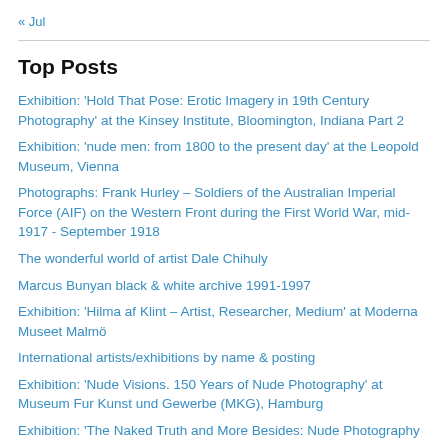« Jul
Top Posts
Exhibition: 'Hold That Pose: Erotic Imagery in 19th Century Photography' at the Kinsey Institute, Bloomington, Indiana Part 2
Exhibition: 'nude men: from 1800 to the present day' at the Leopold Museum, Vienna
Photographs: Frank Hurley – Soldiers of the Australian Imperial Force (AIF) on the Western Front during the First World War, mid-1917 - September 1918
The wonderful world of artist Dale Chihuly
Marcus Bunyan black & white archive 1991-1997
Exhibition: 'Hilma af Klint – Artist, Researcher, Medium' at Moderna Museet Malmö
International artists/exhibitions by name & posting
Exhibition: 'Nude Visions. 150 Years of Nude Photography' at Museum Fur Kunst und Gewerbe (MKG), Hamburg
Exhibition: 'The Naked Truth and More Besides: Nude Photography